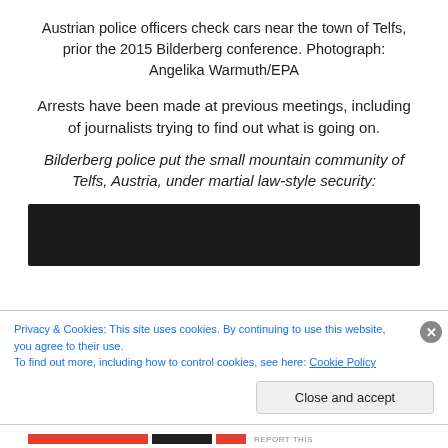Austrian police officers check cars near the town of Telfs, prior the 2015 Bilderberg conference. Photograph: Angelika Warmuth/EPA
Arrests have been made at previous meetings, including of journalists trying to find out what is going on.
Bilderberg police put the small mountain community of Telfs, Austria, under martial law-style security:
[Figure (screenshot): Dark video player placeholder area]
Privacy & Cookies: This site uses cookies. By continuing to use this website, you agree to their use.
To find out more, including how to control cookies, see here: Cookie Policy